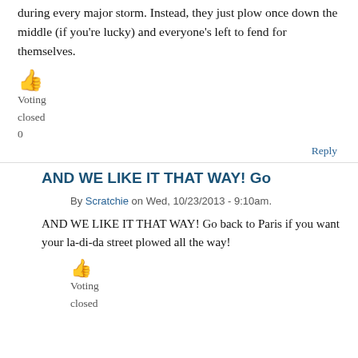during every major storm. Instead, they just plow once down the middle (if you're lucky) and everyone's left to fend for themselves.
Voting
closed
0
Reply
AND WE LIKE IT THAT WAY! Go
By Scratchie on Wed, 10/23/2013 - 9:10am.
AND WE LIKE IT THAT WAY! Go back to Paris if you want your la-di-da street plowed all the way!
Voting
closed